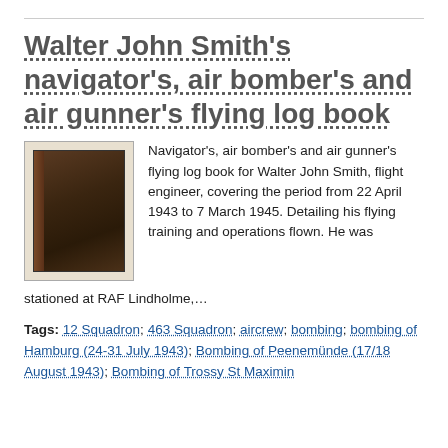Walter John Smith's navigator's, air bomber's and air gunner's flying log book
[Figure (photo): Thumbnail image of a worn dark brown flying log book with a spine visible on the left]
Navigator's, air bomber's and air gunner's flying log book for Walter John Smith, flight engineer, covering the period from 22 April 1943 to 7 March 1945. Detailing his flying training and operations flown. He was stationed at RAF Lindholme,…
Tags: 12 Squadron; 463 Squadron; aircrew; bombing; bombing of Hamburg (24-31 July 1943); Bombing of Peenemünde (17/18 August 1943); Bombing of Trossy St Maximin (3 August 1944); flight engineer; Halif…